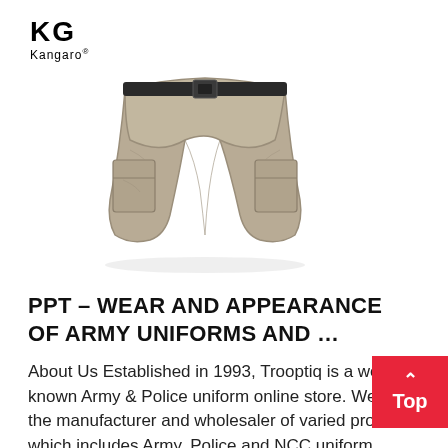[Figure (logo): KG Kangaro logo with stylized K and G letters above the text 'Kangaro' with registered trademark symbol]
[Figure (photo): Khaki/tan tactical cargo shorts with black belt, multiple pockets, laid flat on white background]
PPT – WEAR AND APPEARANCE OF ARMY UNIFORMS AND …
About Us Established in 1993, Trooptiq is a well-known Army & Police uniform online store. We are the manufacturer and wholesaler of varied product which includes Army, Police and NCC uniform accessories, Ceremonial Accessories, Leather shoes, Gun Holster cover, leather belts, etc.